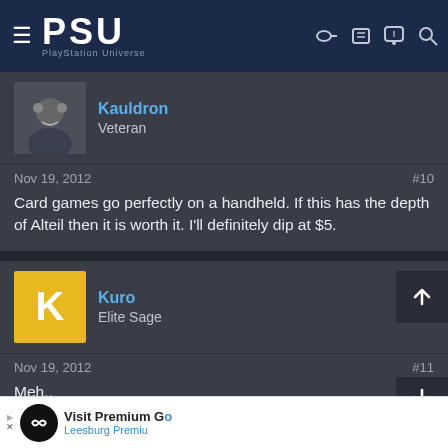PSU — PlayStation Universe
Kauldron
Veteran
Nov 19, 2012   #10
Card games go perfectly on a handheld. If this has the depth of Alteil then it is worth it. I'll definitely dip at $5.
Kuro
Elite Sage
Nov 19, 2012   #11
Meh..
DarkVincent07
Trying not to break stuff...
[Figure (screenshot): Advertisement overlay showing a McLaren sports car at dusk with text 'SLIGHTLY MAD STUDIOS WILL BE DELISTING PROJECT CARS 1 & 2']
[Figure (infographic): Bottom ad banner: Visit Premium Gold — Leesburg Premium with infinity logo]